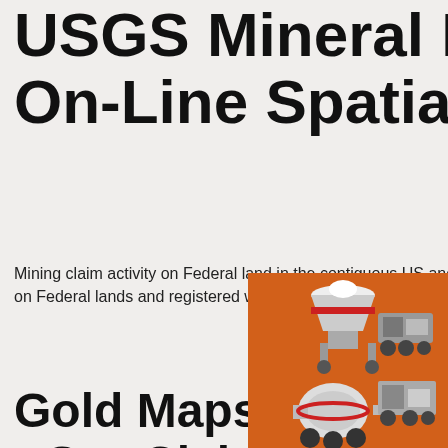USGS Mineral Resources On-Line Spatial Data
Mining claim activity on Federal land in the contiguous US and Alaska Number and type of claims located on Federal lands and registered with the Bureau of
Gold Maps Online Viewing Tips - G... Claims
[Figure (illustration): Advertisement banner with orange background showing industrial mining machinery (crushers, mills). Text: 'Enjoy 3% discount', 'Click to Chat', 'Enquiry', 'limingjlmofen@sina.com']
Gold Maps Online™ uses current active and abandoned gold claims to precisely guide the prospector to gold bearing areas on federal public lands. The fold-out-paper gold map publishers use surface